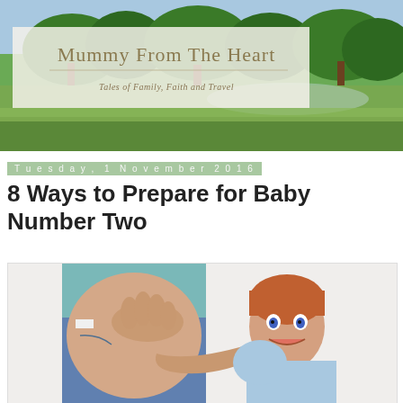[Figure (photo): Blog header banner showing a green park landscape with trees, overlaid with a semi-transparent box containing the blog title 'Mummy From The Heart' and subtitle 'Tales of Family, Faith and Travel']
Mummy From The Heart
Tales of Family, Faith and Travel
Tuesday, 1 November 2016
8 Ways to Prepare for Baby Number Two
[Figure (photo): A young red-haired boy with blue eyes smiling and hugging a pregnant woman's belly, the woman wearing a teal top and jeans]